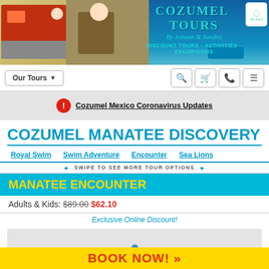[Figure (screenshot): Cozumel Tours banner header with photos of buggy and horse riding, teal background, TripAdvisor logo]
Cozumel Tours By Johann & Sandra - Discount Tours - Activities - Excursions
Our Tours (dropdown) | Search | Cart | Phone | Menu icons
⚠ Cozumel Mexico Coronavirus Updates
COZUMEL MANATEE DISCOVERY
Royal Swim | Swim Adventure | Encounter | Sea Lions
◄ SWIPE TO SEE MORE TOUR OPTIONS ►
MANATEE ENCOUNTER
Adults & Kids: $89.00 $62.10
Exclusive Online Discount!
[Figure (photo): Loading image placeholder with spinner dots]
BOOK NOW! »